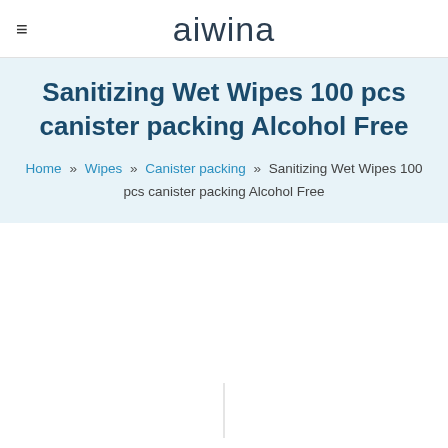≡  aiwina
Sanitizing Wet Wipes 100 pcs canister packing Alcohol Free
Home » Wipes » Canister packing » Sanitizing Wet Wipes 100 pcs canister packing Alcohol Free
[Figure (other): Partial product image visible at bottom of page with a vertical divider line]